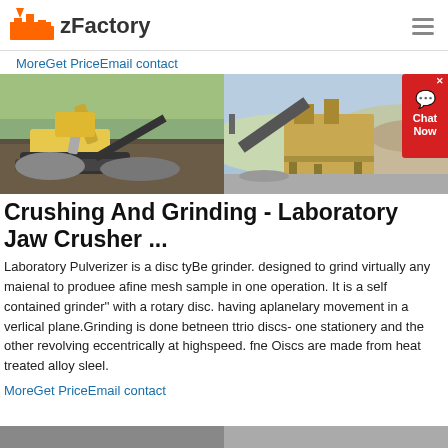zFactory
MoreGet PriceEmail contact
[Figure (photo): Two photos of mining/crushing equipment: left shows excavator with crusher machine at quarry site, right shows conveyor belt with industrial crushing plant machinery]
Crushing And Grinding - Laboratory Jaw Crusher ...
Laboratory Pulverizer is a disc tyBe grinder. designed to grind virtually any maienal to produee afine mesh sample in one operation. It is a self contained grinder'' with a rotary disc. having aplanelary movement in a verlical plane.Grinding is done betneen ttrio discs- one stationery and the other revolving eccentrically at highspeed. fne Oiscs are made from heat treated alloy sleel.
MoreGet PriceEmail contact